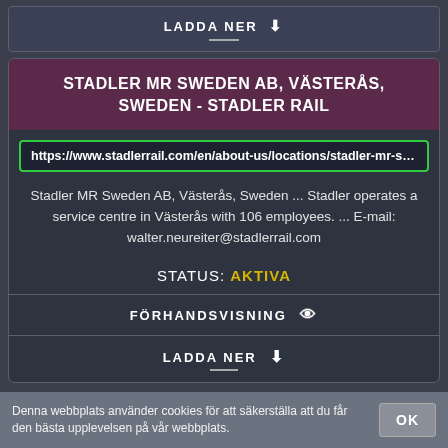LADDA NER ⬇
STADLER MR SWEDEN AB, VÄSTERÅS, SWEDEN - STADLER RAIL
https://www.stadlerrail.com/en/about-us/locations/stadler-mr-sweden-ab
Stadler MR Sweden AB, Västerås, Sweden ... Stadler operates a service centre in Västerås with 106 employees. ... E-mail: walter.neureiter@stadlerrail.com
STATUS: AKTIVA
FÖRHANDSVISNING 👁
LADDA NER ⬇
Denna webbplats använder cookies för att säkerställa att du får den bästa upplevelsen på vår webbplats.